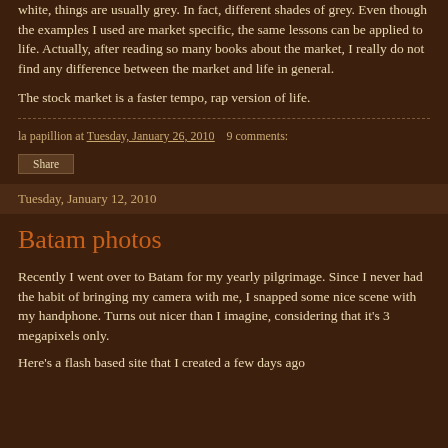white, things are usually grey. In fact, different shades of grey. Even though the examples I used are market specific, the same lessons can be applied to life. Actually, after reading so many books about the market, I really do not find any difference between the market and life in general.
The stock market is a faster tempo, rap version of life.
la papillion at Tuesday, January 26, 2010   9 comments:
Share
Tuesday, January 12, 2010
Batam photos
Recently I went over to Batam for my yearly pilgrimage. Since I never had the habit of bringing my camera with me, I snapped some nice scene with my handphone. Turns out nicer than I imagine, considering that it's 3 megapixels only.
Here's a flash based site that I created a few days ago